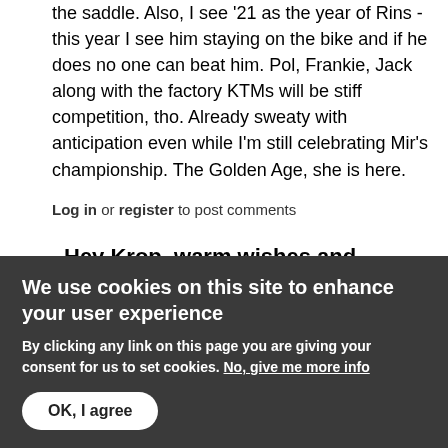the saddle. Also, I see '21 as the year of Rins - this year I see him staying on the bike and if he does no one can beat him. Pol, Frankie, Jack along with the factory KTMs will be stiff competition, tho. Already sweaty with anticipation even while I'm still celebrating Mir's championship. The Golden Age, she is here.
Log in or register to post comments
Hey Krop, warm wishes and
Motoshrink replied on Fri, 2020-12-04 02:44  ☆ Site Supporter
Hey Krop, warm wishes and thanks here as well. Lost
We use cookies on this site to enhance your user experience
By clicking any link on this page you are giving your consent for us to set cookies. No, give me more info
OK, I agree